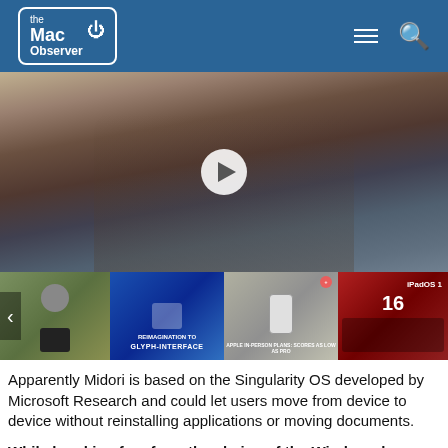the Mac Observer
[Figure (photo): Hands holding a gaming device (ROG branded) with a play button overlay in the center]
[Figure (photo): Thumbnail strip with four video thumbnails: man with camera, Glyph-Interface video, Apple phone, iPadOS 16]
Apparently Midori is based on the Singularity OS developed by Microsoft Research and could let users move from device to device without reinstalling applications or moving documents.
While breaking free from the chains of the Windows legacy could help Microsoft develop less confusing and complex applications, there is a chance that this new OS will still rely on